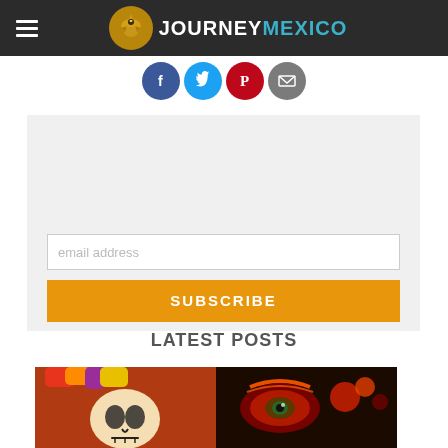JOURNEYMEXICO
[Figure (other): Social media share icons: Facebook, Twitter, Pinterest, Email]
DON'T MISS OUR LATEST INSIGHTS AND STORIES
email address
SUBSCRIBE
LATEST POSTS
[Figure (photo): Photo of a woman with Dia de los Muertos face paint, colorful flower crown, vibrant festival background]